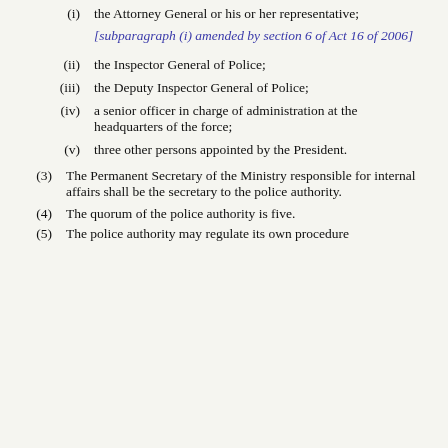(i) the Attorney General or his or her representative;
[subparagraph (i) amended by section 6 of Act 16 of 2006]
(ii) the Inspector General of Police;
(iii) the Deputy Inspector General of Police;
(iv) a senior officer in charge of administration at the headquarters of the force;
(v) three other persons appointed by the President.
(3) The Permanent Secretary of the Ministry responsible for internal affairs shall be the secretary to the police authority.
(4) The quorum of the police authority is five.
(5) The police authority may regulate its own procedure